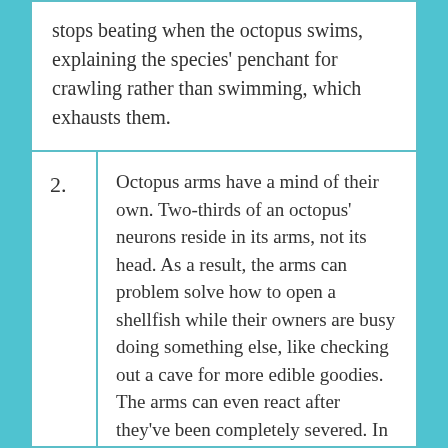stops beating when the octopus swims, explaining the species' penchant for crawling rather than swimming, which exhausts them.
2. Octopus arms have a mind of their own. Two-thirds of an octopus' neurons reside in its arms, not its head. As a result, the arms can problem solve how to open a shellfish while their owners are busy doing something else, like checking out a cave for more edible goodies. The arms can even react after they've been completely severed. In one experiment, severed arms jerked away in pain when researchers pinched them.